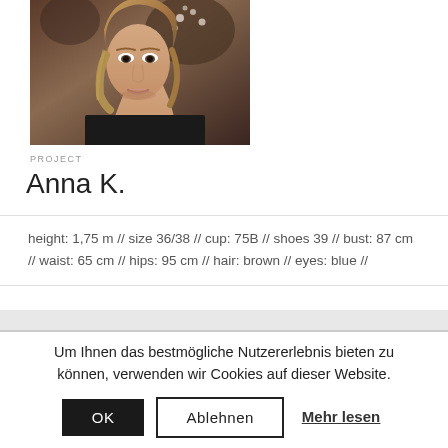[Figure (photo): Portrait photo of a young woman with long blonde-brown hair, flowers in background, dark clothing, cropped to head and upper body.]
PROJECT
Anna K.
height: 1,75 m // size 36/38 // cup: 75B // shoes 39 // bust: 87 cm // waist: 65 cm // hips: 95 cm // hair: brown // eyes: blue //
Um Ihnen das bestmögliche Nutzererlebnis bieten zu können, verwenden wir Cookies auf dieser Website.
OK   Ablehnen   Mehr lesen